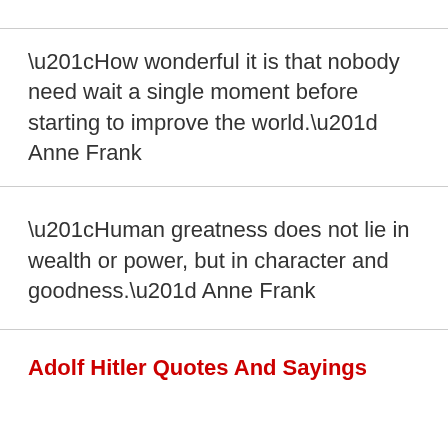“How wonderful it is that nobody need wait a single moment before starting to improve the world.” Anne Frank
“Human greatness does not lie in wealth or power, but in character and goodness.” Anne Frank
Adolf Hitler Quotes And Sayings